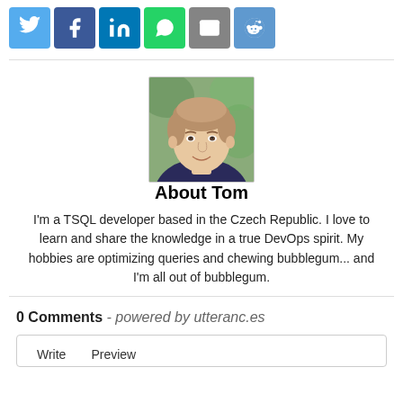[Figure (other): Social sharing buttons: Twitter, Facebook, LinkedIn, WhatsApp, Email, Reddit]
[Figure (photo): Author photo of Tom, a man with short hair smiling, outdoor background]
About Tom
I'm a TSQL developer based in the Czech Republic. I love to learn and share the knowledge in a true DevOps spirit. My hobbies are optimizing queries and chewing bubblegum... and I'm all out of bubblegum.
0 Comments - powered by utteranc.es
Write   Preview